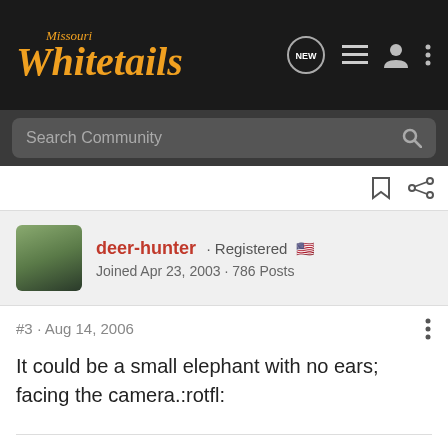Missouri Whitetails
Search Community
deer-hunter · Registered
Joined Apr 23, 2003 · 786 Posts
#3 · Aug 14, 2006
It could be a small elephant with no ears; facing the camera.:rotfl:
"God Bless America!"
"Teach a kid to hunt"